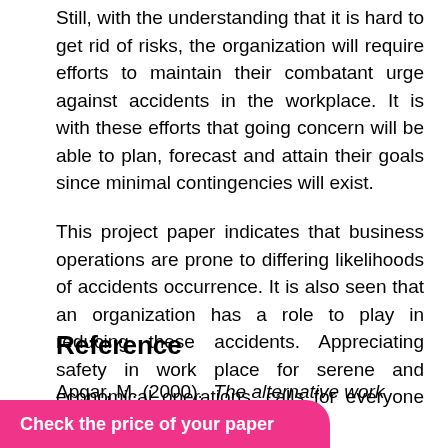Still, with the understanding that it is hard to get rid of risks, the organization will require efforts to maintain their combatant urge against accidents in the workplace. It is with these efforts that going concern will be able to plan, forecast and attain their goals since minimal contingencies will exist.
This project paper indicates that business operations are prone to differing likelihoods of accidents occurrence. It is also seen that an organization has a role to play in reducing these accidents. Appreciating safety in work place for serene and economical operations, calls for everyone to be a part of the effort.
Reference
Apgar, M. (2000). The alternative work place. Press.
harp and Burlington:
Check the price of your paper